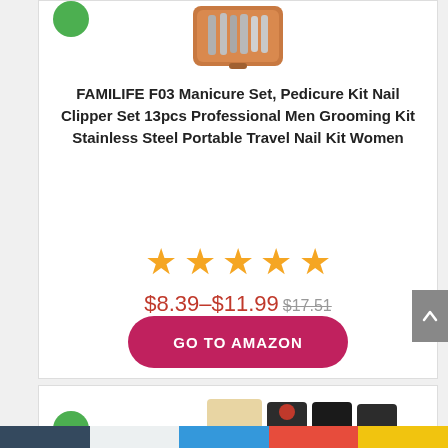[Figure (photo): Manicure set product image in brown leather case with tools]
FAMILIFE F03 Manicure Set, Pedicure Kit Nail Clipper Set 13pcs Professional Men Grooming Kit Stainless Steel Portable Travel Nail Kit Women
[Figure (other): 5 orange/gold star rating icons]
$8.39–$11.99 $17.51
GO TO AMAZON
[Figure (photo): Bottom product card partially visible with green badge and product images]